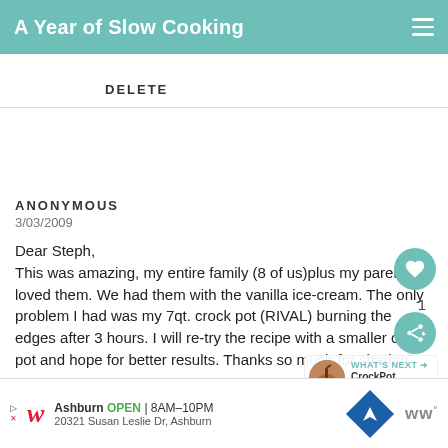A Year of Slow Cooking
DELETE
ANONYMOUS
3/03/2009

Dear Steph,
This was amazing, my entire family (8 of us)plus my parents loved them. We had them with the vanilla ice-cream. The only problem I had was my 7qt. crock pot (RIVAL) burning the edges after 3 hours. I will re-try the recipe with a smaller crock pot and hope for better results. Thanks so much for sharing.
[Figure (other): What's Next teaser showing CrockPot Caramel... with a caramel apple image]
[Figure (other): Walgreens advertisement banner: Ashburn OPEN 8AM-10PM, 20321 Susan Leslie Dr, Ashburn]